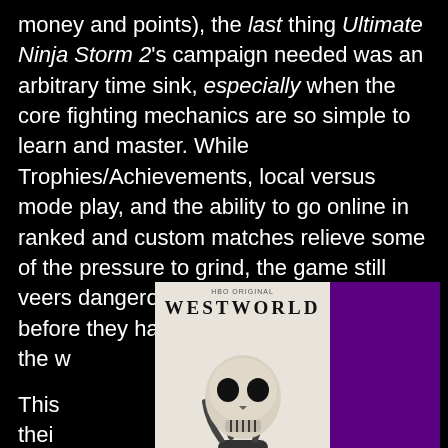money and points), the last thing Ultimate Ninja Storm 2's campaign needed was an arbitrary time sink, especially when the core fighting mechanics are so simple to learn and master. While Trophies/Achievements, local versus mode play, and the ability to go online in ranked and custom matches relieve some of the pressure to grind, the game still veers dangerously close to boring players before they have a chance to experience the w...
[Figure (photo): Advertisement overlay for Westworld on HBO Max. Left panel shows a skull held by a robotic hand against a light background with 'WESTWORLD' title text. Right panel is purple with 'SEE THE BATTLE FOR THE FUTURE', 'HBOMAX', 'SIGN UP NOW' button, 'PLANS START AT $9.99/MONTH' text, and a close button.]
This ... in their ... a twee... succe... isn't...